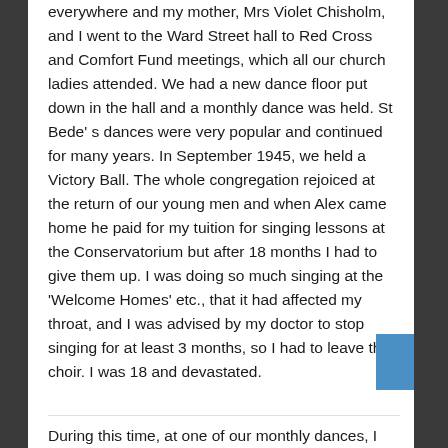everywhere and my mother, Mrs Violet Chisholm, and I went to the Ward Street hall to Red Cross and Comfort Fund meetings, which all our church ladies attended. We had a new dance floor put down in the hall and a monthly dance was held. St Bede’ s dances were very popular and continued for many years. In September 1945, we held a Victory Ball. The whole congregation rejoiced at the return of our young men and when Alex came home he paid for my tuition for singing lessons at the Conservatorium but after 18 months I had to give them up. I was doing so much singing at the ‘Welcome Homes’ etc., that it had affected my throat, and I was advised by my doctor to stop singing for at least 3 months, so I had to leave the choir. I was 18 and devastated.
During this time, at one of our monthly dances, I